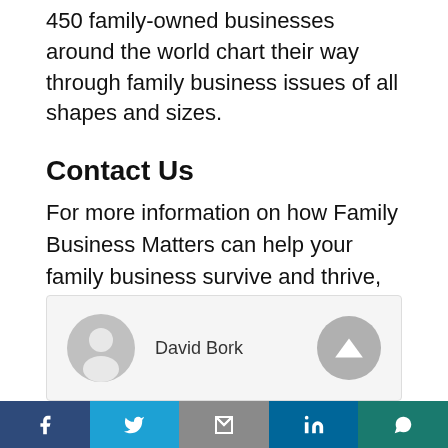450 family-owned businesses around the world chart their way through family business issues of all shapes and sizes.
Contact Us
For more information on how Family Business Matters can help your family business survive and thrive, please contact us today at (970) 948-5077.
[Figure (other): Author card with avatar silhouette icon, name 'David Bork', and a scroll-to-top button]
Facebook | Twitter | Gmail | LinkedIn | WhatsApp social share buttons